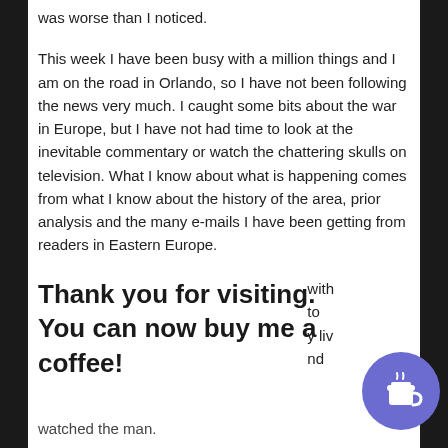was worse than I noticed.
This week I have been busy with a million things and I am on the road in Orlando, so I have not been following the news very much. I caught some bits about the war in Europe, but I have not had time to look at the inevitable commentary or watch the chattering skulls on television. What I know about what is happening comes from what I know about the history of the area, prior analysis and the many e-mails I have been getting from readers in Eastern Europe.
At the airport, they had CNN on and it was all war news, but I saw no one watching is so I followed the mob and ignored it too. I've been in a lot of airports during tranquil times and turbulent times and the airport crowd is always
Thank you for visiting. You can now buy me a coffee!
watched the man.